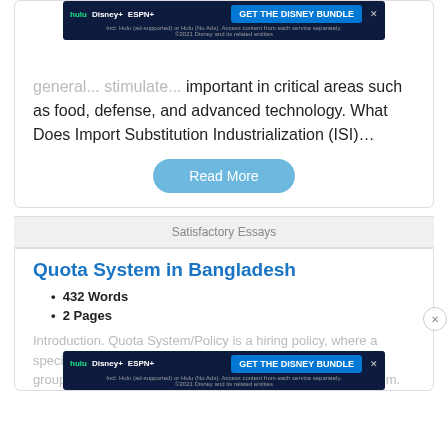general... stimulate... important in critical areas such as food, defense, and advanced technology. What Does Import Substitution Industrialization (ISI)…
Read More
Satisfactory Essays
Quota System in Bangladesh
432 Words
2 Pages
Introduction. Quota System/Policy is a hiring policy, where a specific number of jobs are reserved for a specific group of... government jobs are enriched with the quota system.